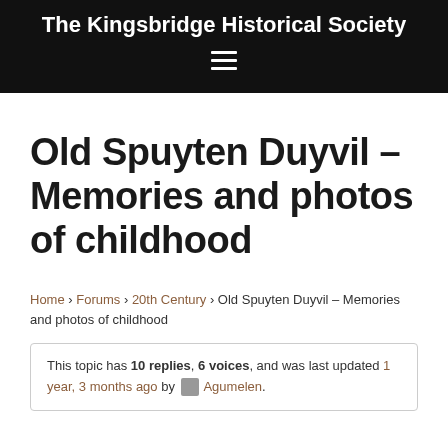The Kingsbridge Historical Society
Old Spuyten Duyvil – Memories and photos of childhood
Home › Forums › 20th Century › Old Spuyten Duyvil – Memories and photos of childhood
This topic has 10 replies, 6 voices, and was last updated 1 year, 3 months ago by Agumelen.